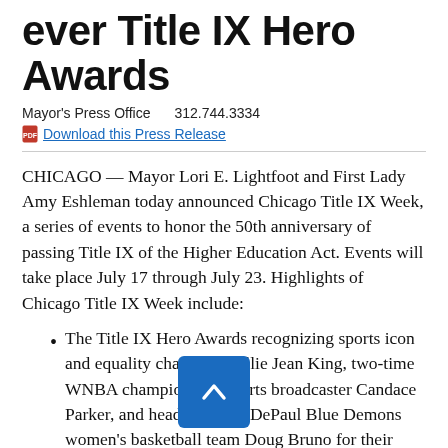ever Title IX Hero Awards
Mayor's Press Office    312.744.3334
Download this Press Release
CHICAGO — Mayor Lori E. Lightfoot and First Lady Amy Eshleman today announced Chicago Title IX Week, a series of events to honor the 50th anniversary of passing Title IX of the Higher Education Act. Events will take place July 17 through July 23. Highlights of Chicago Title IX Week include:
The Title IX Hero Awards recognizing sports icon and equality champion Billie Jean King, two-time WNBA champion and sports broadcaster Candace Parker, and head coach of DePaul Blue Demons women's basketball team Doug Bruno for their work advancing opportunities for women and girls.